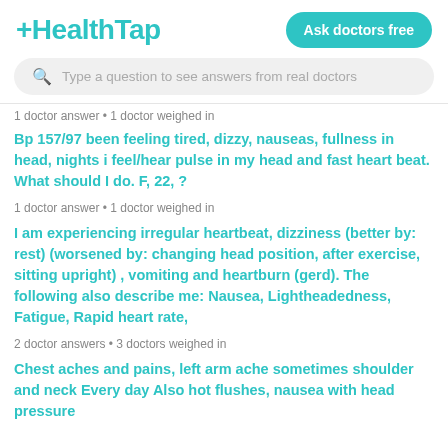+HealthTap
Ask doctors free
Type a question to see answers from real doctors
1 doctor answer • 1 doctor weighed in
Bp 157/97 been feeling tired, dizzy, nauseas, fullness in head, nights i feel/hear pulse in my head and fast heart beat. What should I do. F, 22, ?
1 doctor answer • 1 doctor weighed in
I am experiencing irregular heartbeat, dizziness (better by: rest) (worsened by: changing head position, after exercise, sitting upright) , vomiting and heartburn (gerd). The following also describe me: Nausea, Lightheadedness, Fatigue, Rapid heart rate,
2 doctor answers • 3 doctors weighed in
Chest aches and pains, left arm ache sometimes shoulder and neck Every day Also hot flushes, nausea with head pressure